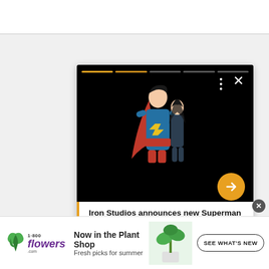[Figure (screenshot): A social media story card showing a Superman and Lois Lane figurine/statue against a black background. The card has orange/gold progress bars at the top, a three-dot menu and X close button, a yellow circular arrow button on the right side, and white text panel at the bottom with a gold left border reading 'Iron Studios announces new Superman and Lois statue'.]
[Figure (screenshot): Advertisement banner for 1-800-flowers.com showing purple brand logo, text 'Now in the Plant Shop / Fresh picks for summer', a plant photo, and a 'SEE WHAT'S NEW' CTA button.]